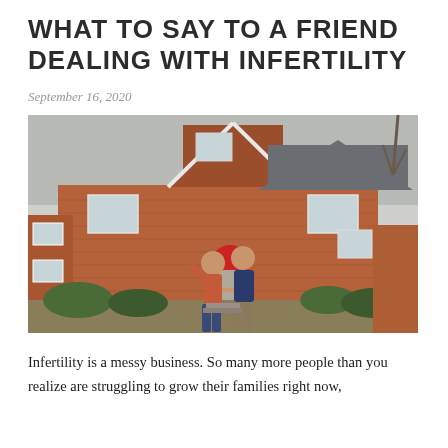WHAT TO SAY TO A FRIEND DEALING WITH INFERTILITY
September 16, 2020
[Figure (photo): A couple holding hands and walking toward the camera on a front path of a red brick Tudor-style house with a red door, bare trees, and dormant lawn.]
Infertility is a messy business. So many more people than you realize are struggling to grow their families right now,